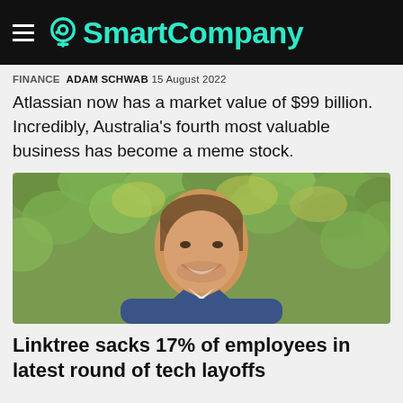SmartCompany
FINANCE  ADAM SCHWAB  15 AUGUST 2022
Atlassian now has a market value of $99 billion. Incredibly, Australia's fourth most valuable business has become a meme stock.
[Figure (photo): Smiling man in a dark blue jacket against a green leafy background]
Linktree sacks 17% of employees in latest round of tech layoffs